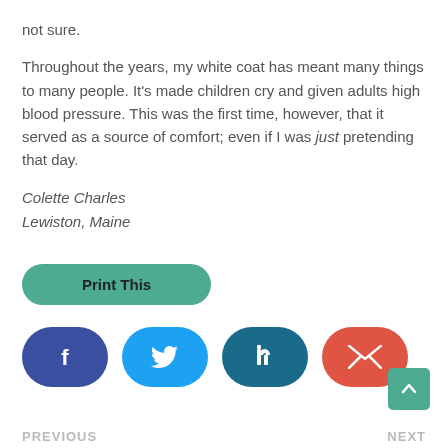not sure.
Throughout the years, my white coat has meant many things to many people. It's made children cry and given adults high blood pressure. This was the first time, however, that it served as a source of comfort; even if I was just pretending that day.
Colette Charles
Lewiston, Maine
[Figure (other): Print This button (teal rounded rectangle), social share buttons row (Facebook dark blue, Twitter light blue, LinkedIn dark teal, Email red), and a teal scroll-to-top button]
PREVIOUS   NEXT